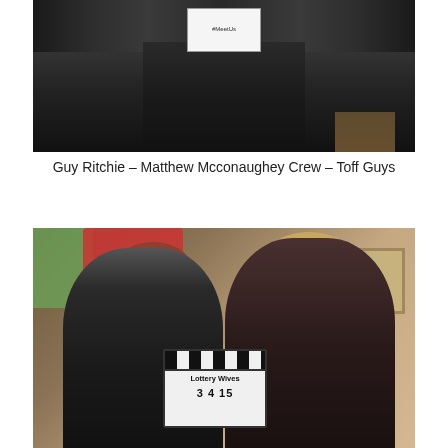[Figure (photo): Group of people dressed in black holding a white sign with text on it, standing in a dark indoor environment]
Guy Ritchie – Matthew Mcconaughey Crew – Toff Guys
[Figure (photo): Two women posing together on a film set, one holding a clapperboard that reads 'Lottery Wives' with numbers 3, 4, 15]